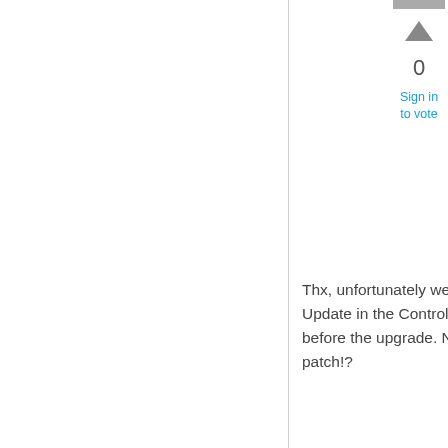[Figure (screenshot): Vote up arrow triangle and vote count 0 with Sign in to vote link]
Thx, unfortunately we no longer have Windows Update in the Control Panel. It used to be there before the upgrade. Not sure how to apply the patch!?
Sunday, August 9, 2015 8:11 AM
[Figure (illustration): Green leaf/pinwheel user avatar icon for user Andrz3j with 5 Points]
Andrz3j  5 Points
[Figure (screenshot): Grey reply/comment icon button at bottom]